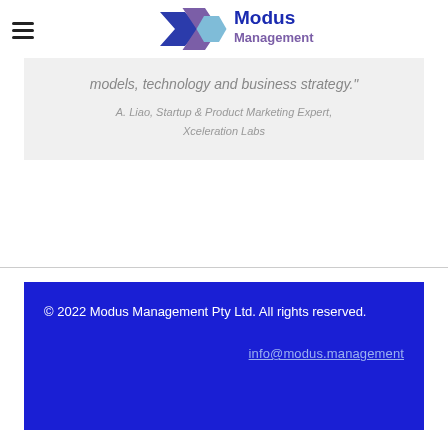[Figure (logo): Modus Management logo with geometric hexagonal shapes in blue and purple next to the text 'Modus Management']
models, technology and business strategy."
A. Liao, Startup & Product Marketing Expert, Xceleration Labs
© 2022 Modus Management Pty Ltd. All rights reserved.
info@modus.management